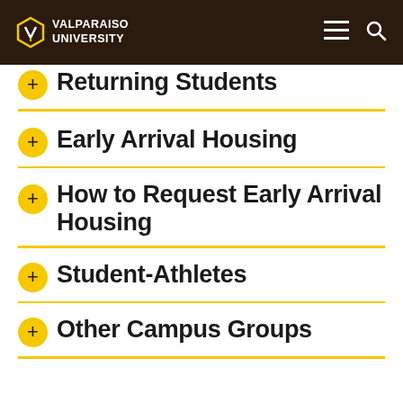VALPARAISO UNIVERSITY
Returning Students
Early Arrival Housing
How to Request Early Arrival Housing
Student-Athletes
Other Campus Groups